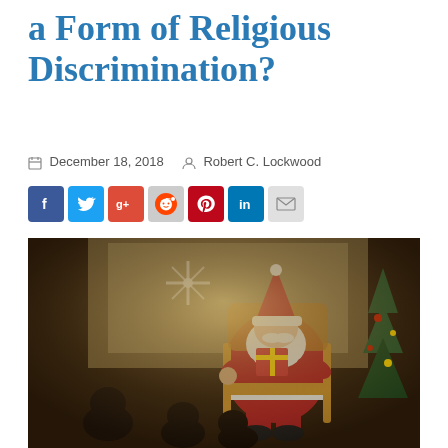a Form of Religious Discrimination?
December 18, 2018   Robert C. Lockwood
[Figure (other): Social media sharing buttons: Facebook, Twitter, Google+, Reddit, Pinterest, LinkedIn, Email]
[Figure (photo): Santa Claus in red suit sitting in a rattan rocking chair, holding gifts, surrounded by children sitting on the floor. Christmas tree visible on the right. Snowflake decoration visible in background window. Warm golden-toned photograph.]